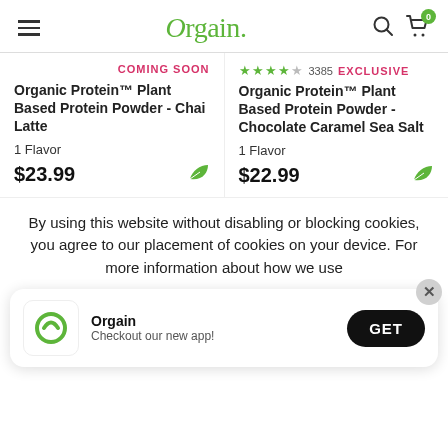[Figure (screenshot): Orgain website header with hamburger menu, Orgain logo in green, search icon, and cart icon with 0 badge]
COMING SOON
Organic Protein™ Plant Based Protein Powder - Chai Latte
1 Flavor
$23.99
★★★★☆ 3385 EXCLUSIVE
Organic Protein™ Plant Based Protein Powder - Chocolate Caramel Sea Salt
1 Flavor
$22.99
By using this website without disabling or blocking cookies, you agree to our placement of cookies on your device. For more information about how we use
[Figure (screenshot): Orgain app promo banner with circular O logo, text 'Orgain - Checkout our new app!', GET button, and close X button]